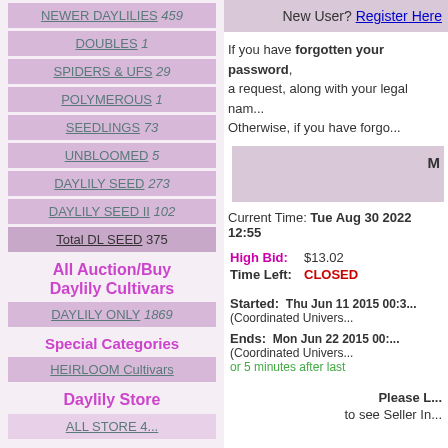NEWER DAYLILIES 459
DOUBLES 1
SPIDERS & UFS 29
POLYMEROUS 1
SEEDLINGS 73
UNBLOOMED 5
DAYLILY SEED 273
DAYLILY SEED II 102
Total DL SEED 375
All Auction/Buy Daylily Cultivars
DAYLILY ONLY 1869
Special Categories
HEIRLOOM Cultivars
Daylily Store
New User? Register Here
If you have forgotten your password, a request, along with your legal nam... Otherwise, if you have forgo...
Current Time: Tue Aug 30 2022 12:55
High Bid: $13.02
Time Left: CLOSED
Started: Thu Jun 11 2015 00:3... (Coordinated Univers...
Ends: Mon Jun 22 2015 00:... (Coordinated Univers... or 5 minutes after last
Please L... to see Seller In...